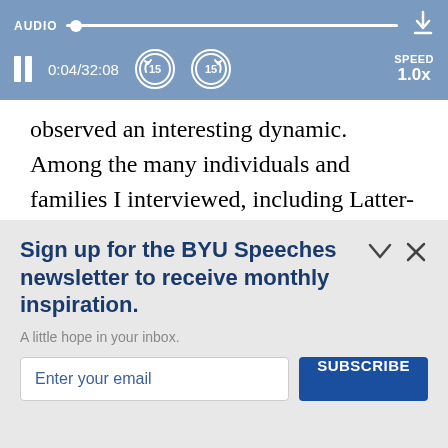[Figure (screenshot): Audio player bar with pause button, time display 0:04/32:08, rewind 15s, forward 15s buttons, speed control at 1.0x, and download icon]
observed an interesting dynamic. Among the many individuals and families I interviewed, including Latter-day Saints, Seventh-day Adventists, Jehovah's Witnesses, and men of the Bahia and Hari Krishna faiths, I was
Sign up for the BYU Speeches newsletter to receive monthly inspiration.
A little hope in your inbox.